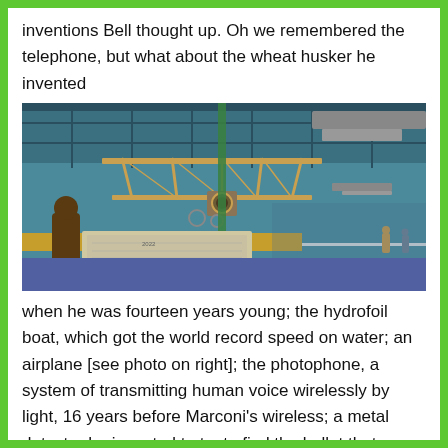inventions Bell thought up. Oh we remembered the telephone, but what about the wheat husker he invented
[Figure (photo): Interior of a museum (likely the Smithsonian National Air and Space Museum) showing early aircraft including a biplane suspended/displayed, with wooden beams, a person in the foreground looking at an exhibit panel, and a large open hall with blue flooring.]
when he was fourteen years young; the hydrofoil boat, which got the world record speed on water; an airplane [see photo on right]; the photophone, a system of transmitting human voice wirelessly by light, 16 years before Marconi's wireless; a metal detector he invented to try to find the bullet that assassinated President Garfield and, although he didn't find it in time to save his